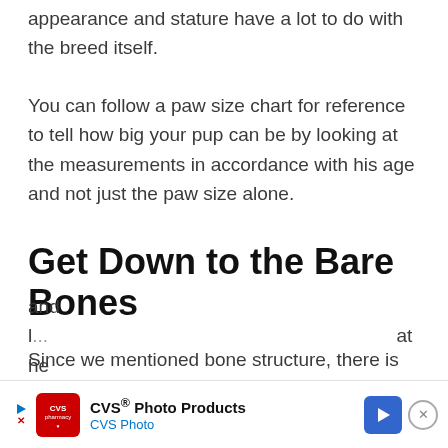appearance and stature have a lot to do with the breed itself.
You can follow a paw size chart for reference to tell how big your pup can be by looking at the measurements in accordance with his age and not just the paw size alone.
Get Down to the Bare Bones
Since we mentioned bone structure, there is no better time than now to tell how big will my puppy be by looking at the bones. The key is to look at the paw and the legs. Does your dog have thin and l... at he
[Figure (other): CVS Photo Products advertisement banner at the bottom of the page]